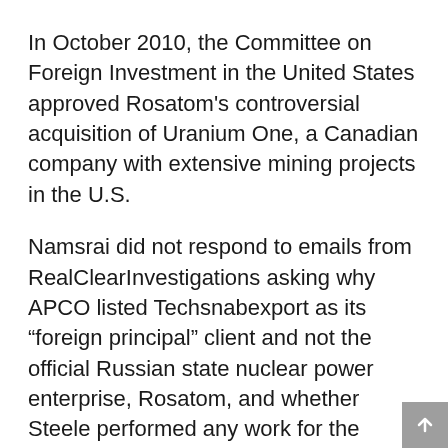In October 2010, the Committee on Foreign Investment in the United States approved Rosatom's controversial acquisition of Uranium One, a Canadian company with extensive mining projects in the U.S.
Namsrai did not respond to emails from RealClearInvestigations asking why APCO listed Techsnabexport as its “foreign principal” client and not the official Russian state nuclear power enterprise, Rosatom, and whether Steele performed any work for the company.
Homeland Security Committee Republicans Try to Investigate